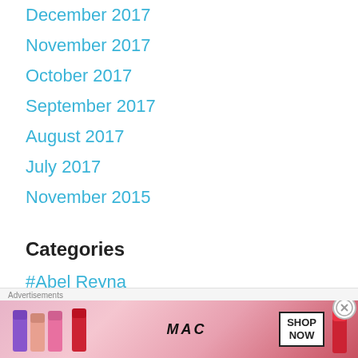December 2017
November 2017
October 2017
September 2017
August 2017
July 2017
November 2015
Categories
#Abel Reyna
#Barry Johnson
[Figure (other): MAC cosmetics advertisement banner with lipsticks, MAC logo, and SHOP NOW button]